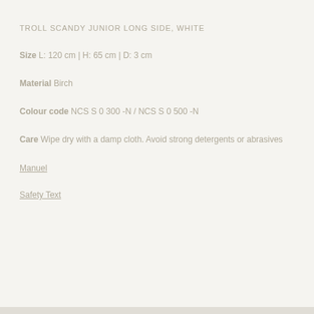TROLL SCANDY JUNIOR LONG SIDE, WHITE
Size L: 120 cm | H: 65 cm | D: 3 cm
Material Birch
Colour code NCS S 0300-N / NCS S 0500-N
Care Wipe dry with a damp cloth. Avoid strong detergents or abrasives
Manuel
Safety Text